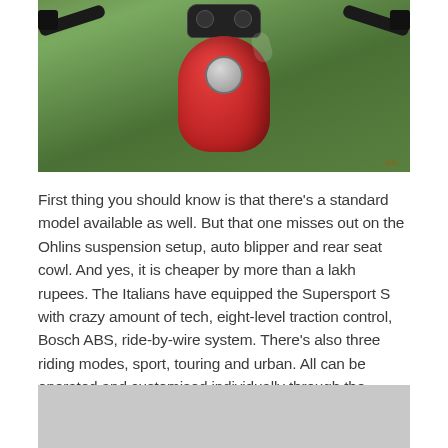[Figure (photo): Top-down view of a red Ducati Supersport S motorcycle on green grass background, showing handlebars, instrument cluster, and fuel tank from above.]
First thing you should know is that there's a standard model available as well. But that one misses out on the Ohlins suspension setup, auto blipper and rear seat cowl. And yes, it is cheaper by more than a lakh rupees. The Italians have equipped the Supersport S with crazy amount of tech, eight-level traction control, Bosch ABS, ride-by-wire system. There's also three riding modes, sport, touring and urban. All can be operated and customised individually through the switchgear. Changes can be seen on the TFT screen which also throws details in a nice and readable fashion.
[Figure (photo): Partial view of motorcycle or related image, mostly gray/obscured at the bottom of the page.]